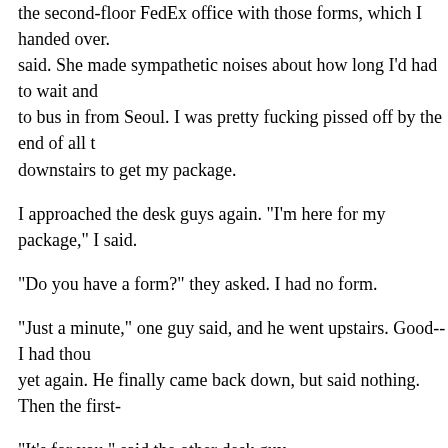the second-floor FedEx office with those forms, which I handed over. said. She made sympathetic noises about how long I'd had to wait and to bus in from Seoul. I was pretty fucking pissed off by the end of all t downstairs to get my package.
I approached the desk guys again. "I'm here for my package," I said.
"Do you have a form?" they asked. I had no form.
"Just a minute," one guy said, and he went upstairs. Good-- I had thou yet again. He finally came back down, but said nothing. Then the first-
"It's for you," said the other desk guy.
It was the lady from the second floor.
"Didn't I tell you? You can't get the package today! It still has to go thr package tomorrow!" I hung up. This was too much. I should have aske pay a fucking W30,000 delivery fee, but in my fury I was just intent o